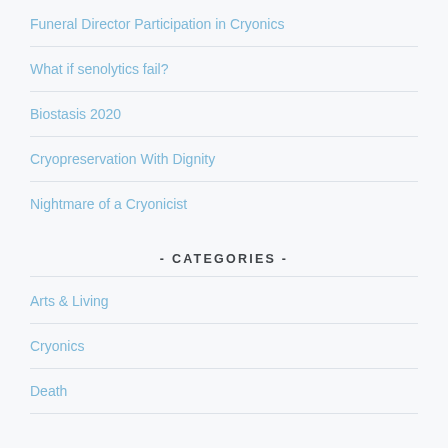Funeral Director Participation in Cryonics
What if senolytics fail?
Biostasis 2020
Cryopreservation With Dignity
Nightmare of a Cryonicist
- CATEGORIES -
Arts & Living
Cryonics
Death